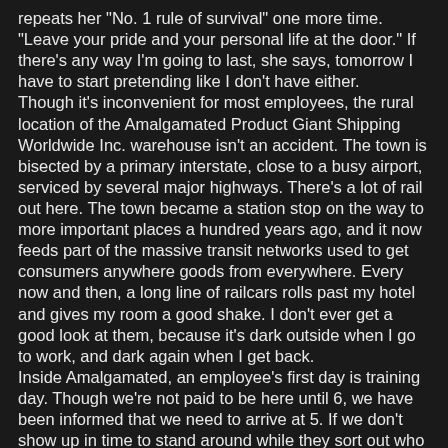repeats her "No. 1 rule of survival" one more time. "Leave your pride and your personal life at the door." If there's any way I'm going to last, she says, tomorrow I have to start pretending like I don't have either.
Though it's inconvenient for most employees, the rural location of the Amalgamated Product Giant Shipping Worldwide Inc. warehouse isn't an accident. The town is bisected by a primary interstate, close to a busy airport, serviced by several major highways. There's a lot of rail out here. The town became a station stop on the way to more important places a hundred years ago, and it now feeds part of the massive transit networks used to get consumers anywhere goods from everywhere. Every now and then, a long line of railcars rolls past my hotel and gives my room a good shake. I don't ever get a good look at them, because it's dark outside when I go to work, and dark again when I get back.
Inside Amalgamated, an employee's first day is training day. Though we're not paid to be here until 6, we have been informed that we need to arrive at 5. If we don't show up in time to stand around while they sort out who we are and where they've put our ID badges, we could miss the